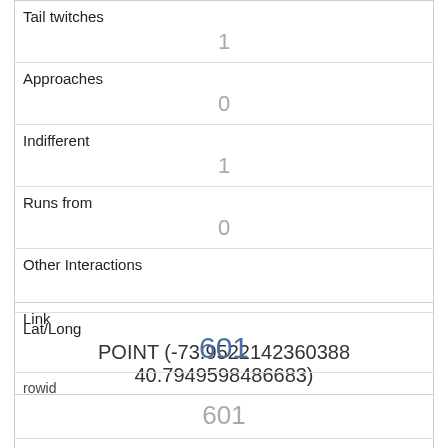| Tail twitches | 1 |
| Approaches | 0 |
| Indifferent | 1 |
| Runs from | 0 |
| Other Interactions |  |
| Lat/Long | POINT (-73.9522142360388 40.7949598486683) |
| Link | 601 |
| rowid | 601 |
| longitude | -73.9522291603405 |
| latitude |  |